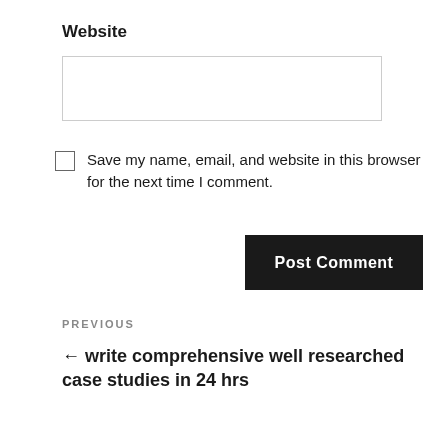Website
Save my name, email, and website in this browser for the next time I comment.
Post Comment
PREVIOUS
← write comprehensive well researched case studies in 24 hrs